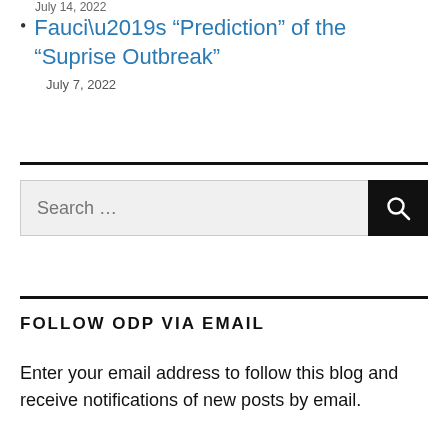July 14, 2022
Fauci’s “Prediction” of the “Suprise Outbreak”
July 7, 2022
FOLLOW ODP VIA EMAIL
Enter your email address to follow this blog and receive notifications of new posts by email.